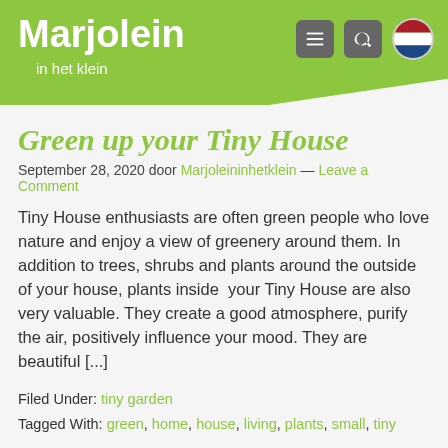Marjolein in het klein
Green up your Tiny House
September 28, 2020 door Marjoleininhetklein — Leave a Comment
Tiny House enthusiasts are often green people who love nature and enjoy a view of greenery around them. In addition to trees, shrubs and plants around the outside of your house, plants inside  your Tiny House are also very valuable. They create a good atmosphere, purify the air, positively influence your mood. They are beautiful [...]
Filed Under: tiny garden
Tagged With: green, home, house, living, plants, small, tiny
How do you choose a green energy